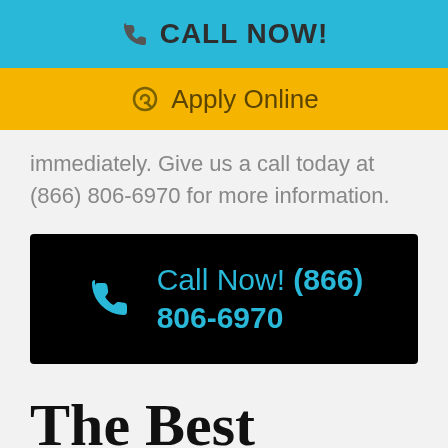📞 CALL NOW!
🔄 Apply Online
immediately. Give us a call today at (866) 806-6970 for more information.
[Figure (infographic): Black banner with cyan phone handset icon and text 'Call Now! (866) 806-6970' in cyan]
The Best